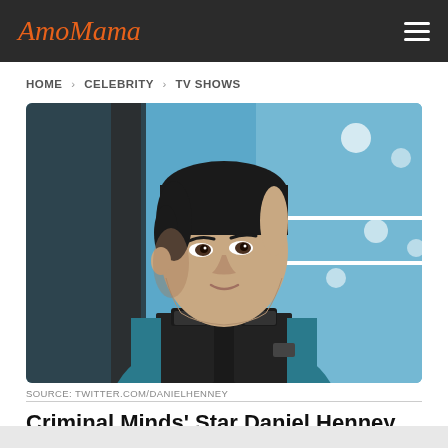AmoMama
HOME > CELEBRITY > TV SHOWS
[Figure (photo): Daniel Henney wearing a teal shirt and black tactical vest, looking upward against a blue glass building background]
SOURCE: TWITTER.COM/DANIELHENNEY
Criminal Minds' Star Daniel Henney